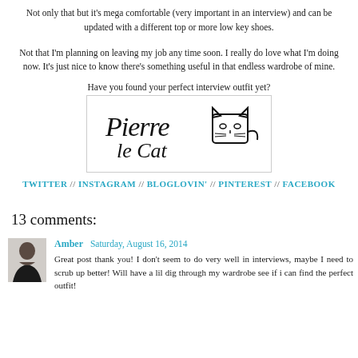Not only that but it's mega comfortable (very important in an interview) and can be updated with a different top or more low key shoes.
Not that I'm planning on leaving my job any time soon. I really do love what I'm doing now. It's just nice to know there's something useful in that endless wardrobe of mine.
Have you found your perfect interview outfit yet?
[Figure (illustration): Handwritten signature logo reading 'Pierre le Cat' with a small hand-drawn cat face illustration]
TWITTER // INSTAGRAM // BLOGLOVIN' // PINTEREST // FACEBOOK
13 comments:
Amber  Saturday, August 16, 2014
Great post thank you! I don't seem to do very well in interviews, maybe I need to scrub up better! Will have a lil dig through my wardrobe see if i can find the perfect outfit!